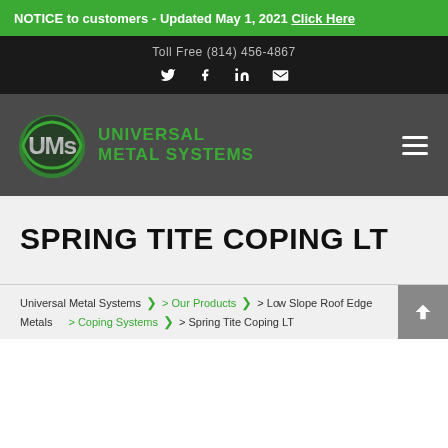NOTICE to customers - Updated May 1, 2021 Click Here
Toll Free (814) 456-4867
[Figure (logo): UMS Universal Metal Systems logo with green shield and silver lettering, on dark gray background]
SPRING TITE COPING LT
Universal Metal Systems > Our Products > Low Slope Roof Edge Metals > Coping Systems > Spring Tite Coping LT